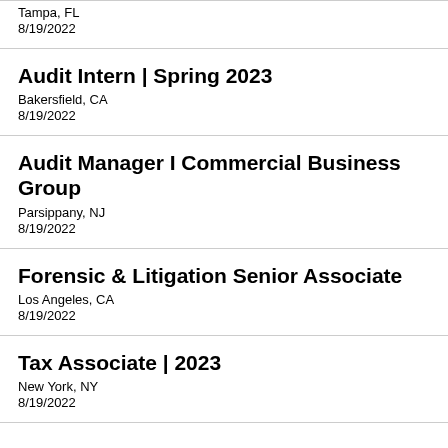Tampa, FL
8/19/2022
Audit Intern | Spring 2023
Bakersfield, CA
8/19/2022
Audit Manager I Commercial Business Group
Parsippany, NJ
8/19/2022
Forensic & Litigation Senior Associate
Los Angeles, CA
8/19/2022
Tax Associate | 2023
New York, NY
8/19/2022